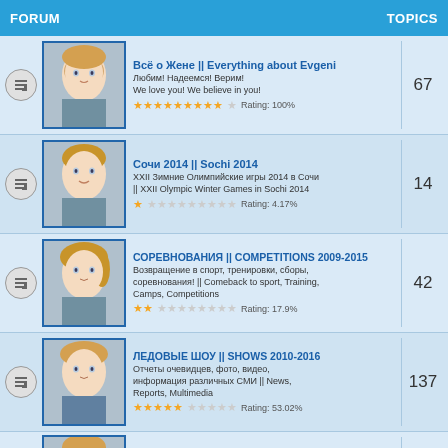FORUM | TOPICS
Всё о Жене || Everything about Evgeni
Любим! Надеемся! Верим!
We love you! We believe in you!
Rating: 100%
Topics: 67
Сочи 2014 || Sochi 2014
XXII Зимние Олимпийские игры 2014 в Сочи || XXII Olympic Winter Games in Sochi 2014
Rating: 4.17%
Topics: 14
СОРЕВНОВАНИЯ || COMPETITIONS 2009-2015
Возвращение в спорт, тренировки, сборы, соревнования! || Comeback to sport, Training, Camps, Competitions
Rating: 17.9%
Topics: 42
ЛЕДОВЫЕ ШОУ || SHOWS 2010-2016
Отчеты очевидцев, фото, видео, информация различных СМИ || News, Reports, Multimedia
Rating: 53.02%
Topics: 137
Фотоальбом с Женей || Evgeni's Photoalbum
Создаём вместе!
Topics: 59